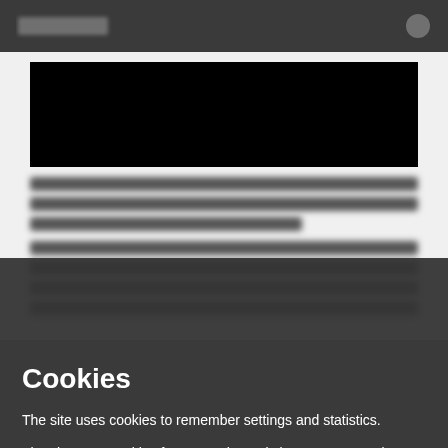[Figure (screenshot): Website navigation bar with blurred logo on left and icon on right, dark gray background]
[Figure (screenshot): Blurred website content area showing a black media block and blurred paragraph text below it]
Cookies
The site uses cookies to remember settings and statistics.
The site uses cookies from Google Analytics to measure site traffic.
Disable
Accept